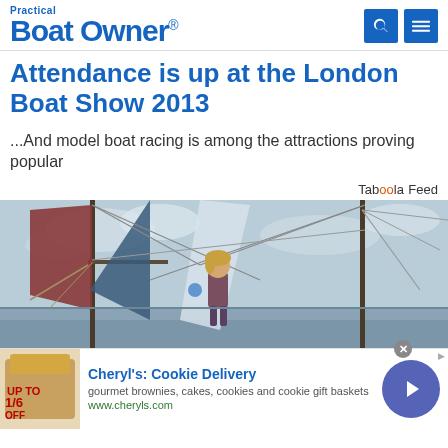Practical Boat Owner
Attendance is up at the London Boat Show 2013
...And model boat racing is among the attractions proving popular
Taboola Feed
[Figure (photo): Woman standing on sailing boat deck among masts and sails, cloudy sky background]
Cheryl's: Cookie Delivery
gourmet brownies, cakes, cookies and cookie gift baskets
www.cheryls.com